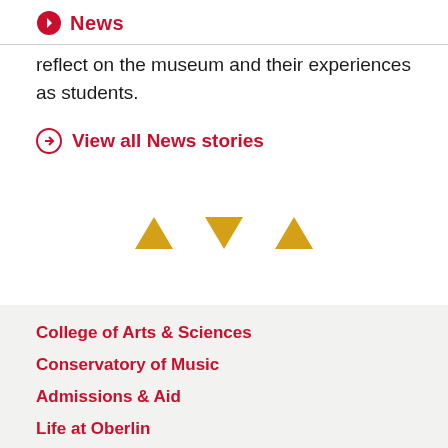News
reflect on the museum and their experiences as students.
View all News stories
[Figure (illustration): Three decorative triangles in gold/yellow: up-pointing, down-pointing, up-pointing arranged horizontally]
College of Arts & Sciences
Conservatory of Music
Admissions & Aid
Life at Oberlin